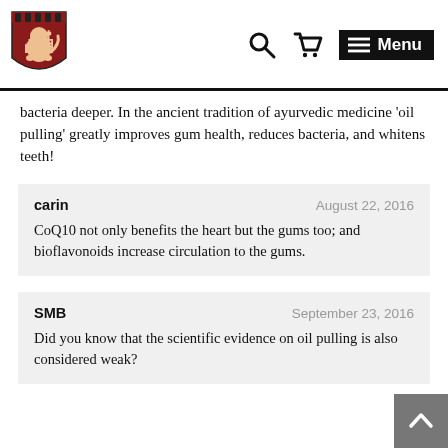Harvard Health Publishing — Navigation header with logo, search, cart, and menu
bacteria deeper. In the ancient tradition of ayurvedic medicine 'oil pulling' greatly improves gum health, reduces bacteria, and whitens teeth!
carin — August 22, 2016
CoQ10 not only benefits the heart but the gums too; and bioflavonoids increase circulation to the gums.
SMB — September 23, 2016
Did you know that the scientific evidence on oil pulling is also considered weak?